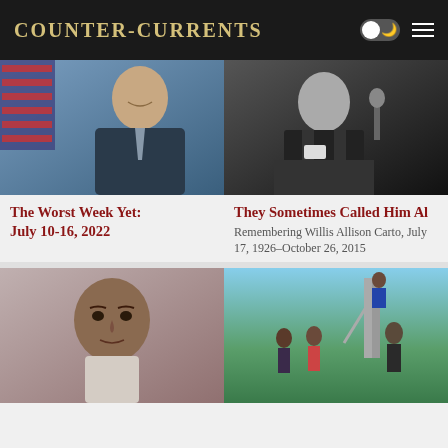Counter-Currents
[Figure (photo): Man in suit smiling in front of American flag]
[Figure (photo): Black and white photo of older man speaking at microphone]
The Worst Week Yet: July 10-16, 2022
They Sometimes Called Him Al
Remembering Willis Allison Carto, July 17, 1926–October 26, 2015
[Figure (photo): Mugshot of a man]
[Figure (photo): Crowd of people at outdoor event near playground equipment]